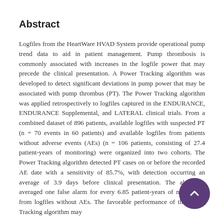Abstract
Logfiles from the HeartWare HVAD System provide operational pump trend data to aid in patient management. Pump thrombosis is commonly associated with increases in the logfile power that may precede the clinical presentation. A Power Tracking algorithm was developed to detect significant deviations in pump power that may be associated with pump thrombus (PT). The Power Tracking algorithm was applied retrospectively to logfiles captured in the ENDURANCE, ENDURANCE Supplemental, and LATERAL clinical trials. From a combined dataset of 896 patients, available logfiles with suspected PT (n = 70 events in 60 patients) and available logfiles from patients without adverse events (AEs) (n = 106 patients, consisting of 27.4 patient-years of monitoring) were organized into two cohorts. The Power Tracking algorithm detected PT cases on or before the recorded AE date with a sensitivity of 85.7%, with detection occurring an average of 3.9 days before clinical presentation. The algorithm averaged one false alarm for every 6.85 patient-years of monitoring from logfiles without AEs. The favorable performance of the Power Tracking algorithm may